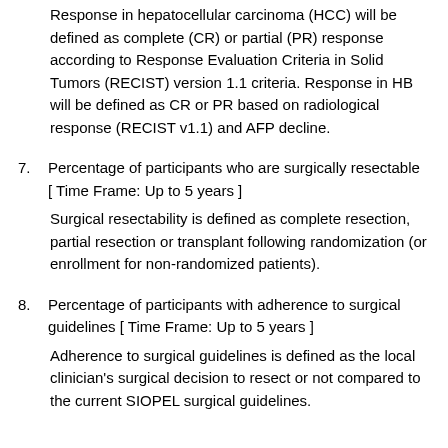Response in hepatocellular carcinoma (HCC) will be defined as complete (CR) or partial (PR) response according to Response Evaluation Criteria in Solid Tumors (RECIST) version 1.1 criteria. Response in HB will be defined as CR or PR based on radiological response (RECIST v1.1) and AFP decline.
7. Percentage of participants who are surgically resectable [ Time Frame: Up to 5 years ]
Surgical resectability is defined as complete resection, partial resection or transplant following randomization (or enrollment for non-randomized patients).
8. Percentage of participants with adherence to surgical guidelines [ Time Frame: Up to 5 years ]
Adherence to surgical guidelines is defined as the local clinician's surgical decision to resect or not compared to the current SIOPEL surgical guidelines.